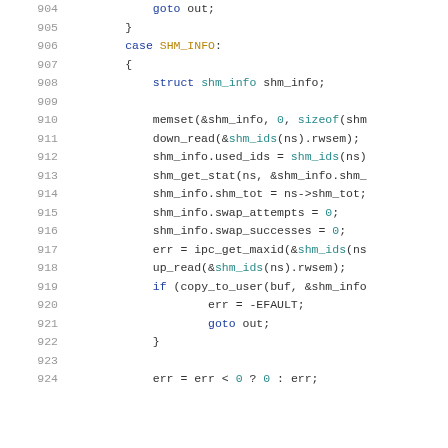[Figure (screenshot): Source code listing lines 904-924 of a C file showing a switch case for SHM_INFO with struct shm_info operations]